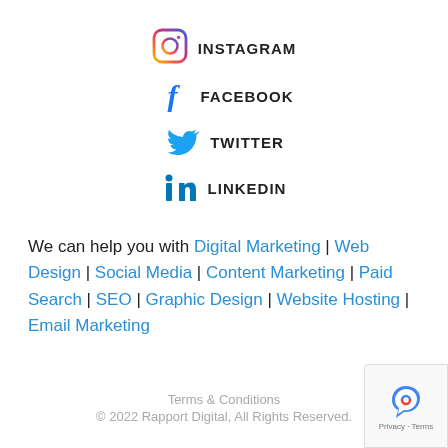INSTAGRAM
FACEBOOK
TWITTER
LINKEDIN
We can help you with Digital Marketing | Web Design | Social Media | Content Marketing | Paid Search | SEO | Graphic Design | Website Hosting | Email Marketing
Terms & Conditions
© 2022 Rapport Digital, All Rights Reserved.